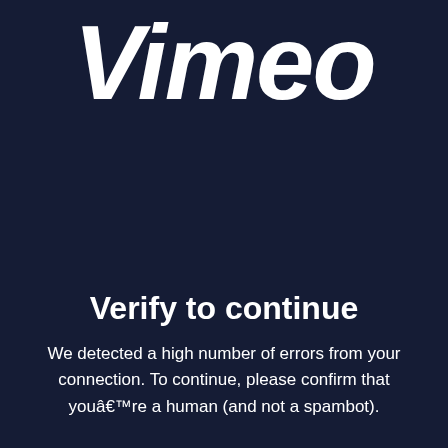[Figure (logo): Vimeo logo in white bold italic script on dark navy background]
Verify to continue
We detected a high number of errors from your connection. To continue, please confirm that youâre a human (and not a spambot).